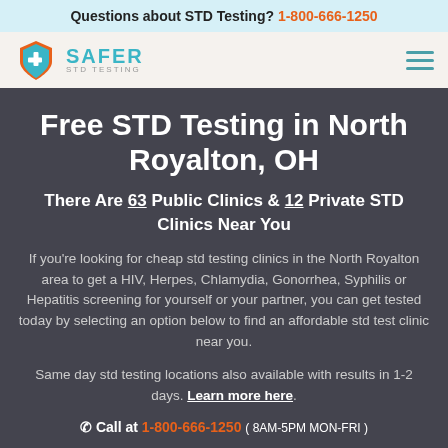Questions about STD Testing? 1-800-666-1250
[Figure (logo): Safer STD Testing shield logo with orange and teal colors, text SAFER STD TESTING]
Free STD Testing in North Royalton, OH
There Are 63 Public Clinics & 12 Private STD Clinics Near You
If you're looking for cheap std testing clinics in the North Royalton area to get a HIV, Herpes, Chlamydia, Gonorrhea, Syphilis or Hepatitis screening for yourself or your partner, you can get tested today by selecting an option below to find an affordable std test clinic near you.
Same day std testing locations also available with results in 1-2 days. Learn more here.
Call at 1-800-666-1250 ( 8AM-5PM MON-FRI )